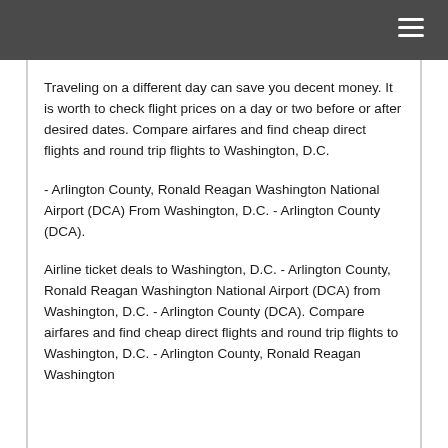Traveling on a different day can save you decent money. It is worth to check flight prices on a day or two before or after desired dates. Compare airfares and find cheap direct flights and round trip flights to Washington, D.C.
- Arlington County, Ronald Reagan Washington National Airport (DCA) From Washington, D.C. - Arlington County (DCA).
Airline ticket deals to Washington, D.C. - Arlington County, Ronald Reagan Washington National Airport (DCA) from Washington, D.C. - Arlington County (DCA). Compare airfares and find cheap direct flights and round trip flights to Washington, D.C. - Arlington County, Ronald Reagan Washington